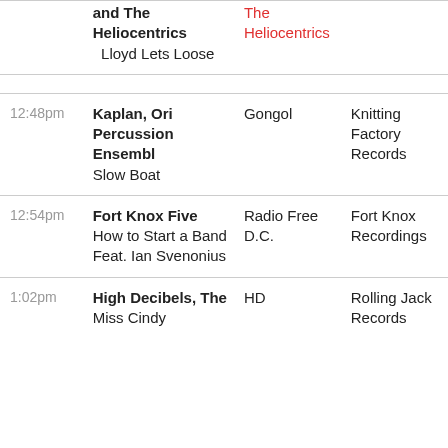| Time | Artist / Song | Album | Label |
| --- | --- | --- | --- |
|  | and The Heliocentrics
  Lloyd Lets Loose | The Heliocentrics |  |
| 12:48pm | Kaplan, Ori Percussion Ensembl
Slow Boat | Gongol | Knitting Factory Records |
| 12:54pm | Fort Knox Five  How to Start a Band Feat. Ian Svenonius | Radio Free D.C. | Fort Knox Recordings |
| 1:02pm | High Decibels, The  Miss Cindy | HD | Rolling Jack Records |